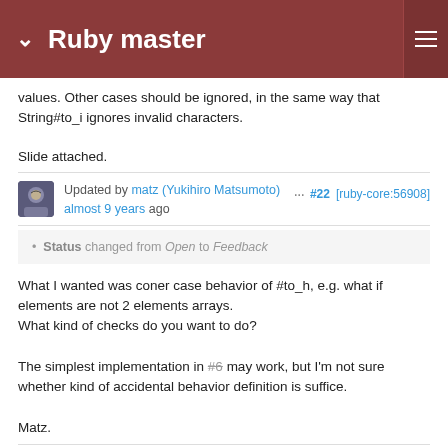Ruby master
values. Other cases should be ignored, in the same way that String#to_i ignores invalid characters.

Slide attached.
Updated by matz (Yukihiro Matsumoto) almost 9 years ago  ···  #22  [ruby-core:56908]
Status changed from Open to Feedback
What I wanted was coner case behavior of #to_h, e.g. what if elements are not 2 elements arrays.
What kind of checks do you want to do?

The simplest implementation in #6 may work, but I'm not sure whether kind of accidental behavior definition is suffice.

Matz.
Updated by trans (Thomas Sawyer) almost 9 years ago  ···  #23  [ruby-core:56936]
=begin